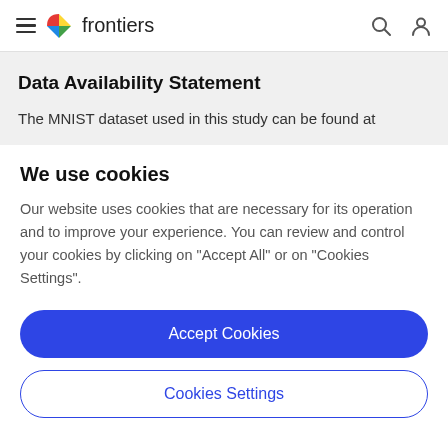frontiers
Data Availability Statement
The MNIST dataset used in this study can be found at
We use cookies
Our website uses cookies that are necessary for its operation and to improve your experience. You can review and control your cookies by clicking on "Accept All" or on "Cookies Settings".
Accept Cookies
Cookies Settings